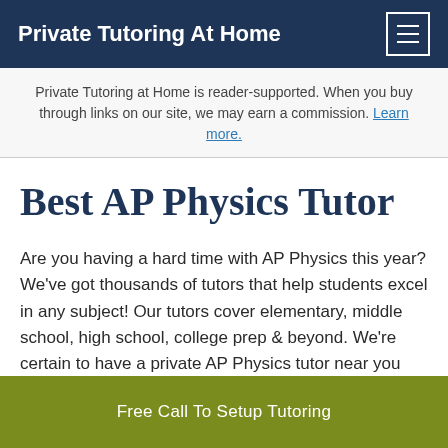Private Tutoring At Home
Private Tutoring at Home is reader-supported. When you buy through links on our site, we may earn a commission. Learn more.
Best AP Physics Tutor
Are you having a hard time with AP Physics this year? We’ve got thousands of tutors that help students excel in any subject! Our tutors cover elementary, middle school, high school, college prep & beyond. We’re certain to have a private AP Physics tutor near you that can help now!
Free Call To Setup Tutoring